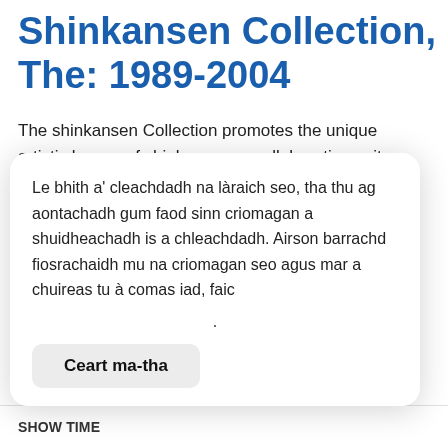Shinkansen Collection, The: 1989-2004
The shinkansen Collection promotes the unique artistic legacy of shinkansen, a collaborative unit renowned for its innovative and pioneering work in sound and movement research across 1989 - 2004. This Portal provides a co-ordinated web presence for different ...
Leugh an còrr
Ceann-latha air an deach a chur dhan tasglann: 2013-
Le bhith a' cleachdadh na làraich seo, tha thu ag aontachadh gum faod sinn criomagan a shuidheachadh is a chleachdadh. Airson barrachd fiosrachaidh mu na criomagan seo agus mar a chuireas tu à comas iad, faic
Ceart ma-tha
SHOW TIME